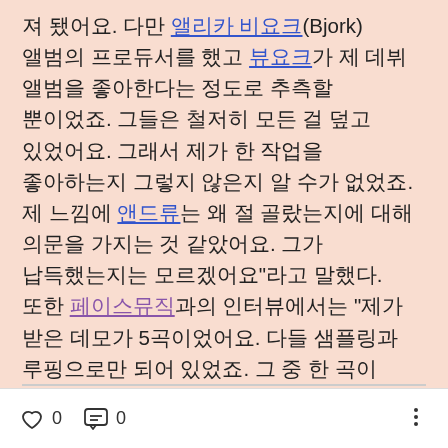져 됐어요. 다만 앨리카 비요크(Bjork) 앨범의 프로듀서를 했고 뷰요크가 제 데뷔 앨범을 좋아한다는 정도로 추측할 뿐이었죠. 그들은 철저히 모든 걸 덮고 있었어요. 그래서 제가 한 작업을 좋아하는지 그렇지 않은지 알 수가 없었죠. 제 느낌에 앤드류는 왜 절 골랐는지에 대해 의문을 가지는 것 같았어요. 그가 납득했는지는 모르겠어요"라고 말했다. 또한 페이스뮤직과의 인터뷰에서는 "제가 받은 데모가 5곡이었어요. 다들 샘플링과 루핑으로만 되어 있었죠. 그 중 한 곡이 Protection이 되었어요. 처음엔 망설였는데, 어느 순간부터 해방감 같은 걸 느꼈어요"라고 말했다. 트레이시의 기용에 대해 그랜트 마샬(Grant Marshall, Daddy G)은 "트레이시는 전통적인 의미에서의 사랑에 관한 가사를 쓰고 항상 아주 개인적인 글을 써요. 우리의 트랙은 공간이 많이 비고 조종할 수가 있어서 우리오 잘 맞을 것이라 생각했습니다"라고 말했다.
♡ 0   💬 0   ⋮